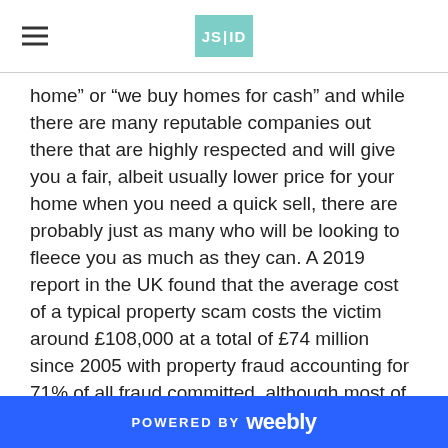JS|ID
home” or “we buy homes for cash” and while there are many reputable companies out there that are highly respected and will give you a fair, albeit usually lower price for your home when you need a quick sell, there are probably just as many who will be looking to fleece you as much as they can. A 2019 report in the UK found that the average cost of a typical property scam costs the victim around £108,000 at a total of £74 million since 2005 with property fraud accounting for 71% of all fraud committed, although most of this was related to mortgage and rental scams.
However, it still serves to highlight the importance of being vigilant when selling your home as it could cost you a significant amount of money, time, and heartache should you fall victim to a complex scam or even a shrewd buyer looking to take advantage of your vulnerable position. Cash buying for homes is a popular choice for many home sellers that are
POWERED BY weebly